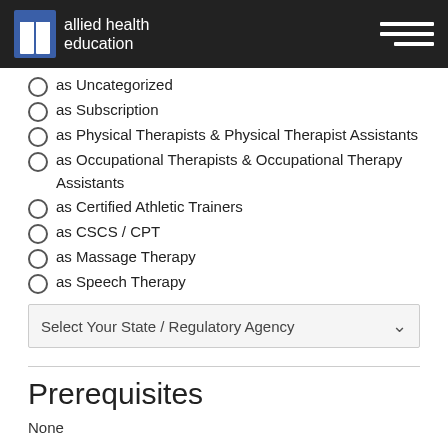allied health education
as Uncategorized
as Subscription
as Physical Therapists & Physical Therapist Assistants
as Occupational Therapists & Occupational Therapy Assistants
as Certified Athletic Trainers
as CSCS / CPT
as Massage Therapy
as Speech Therapy
Select Your State / Regulatory Agency
Prerequisites
None
Educational Level
Basic
Other